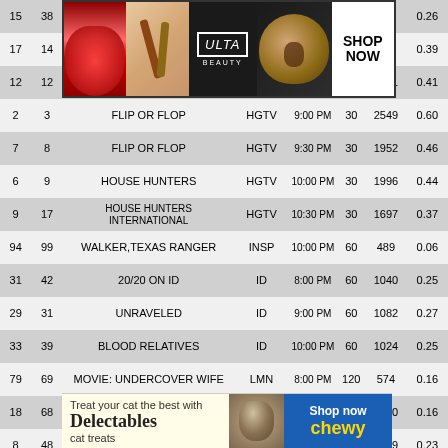|  |  | SHOW | NET | TIME | MIN |  |  |
| --- | --- | --- | --- | --- | --- | --- | --- |
| 15 | 38 |  |  |  |  |  | 0.26 |
| 17 | 14 |  |  |  |  |  | 0.39 |
| 12 | 12 | FLIP OR FLOP | HGTV | 8:30 PM | 30 | 1511 | 0.41 |
| 2 | 3 | FLIP OR FLOP | HGTV | 9:00 PM | 30 | 2549 | 0.60 |
| 7 | 8 | FLIP OR FLOP | HGTV | 9:30 PM | 30 | 1952 | 0.46 |
| 6 | 9 | HOUSE HUNTERS | HGTV | 10:00 PM | 30 | 1996 | 0.44 |
| 9 | 17 | HOUSE HUNTERS INTERNATIONAL | HGTV | 10:30 PM | 30 | 1697 | 0.37 |
| 94 | 99 | WALKER,TEXAS RANGER | INSP | 10:00 PM | 60 | 489 | 0.06 |
| 31 | 42 | 20/20 ON ID | ID | 8:00 PM | 60 | 1040 | 0.25 |
| 29 | 31 | UNRAVELED | ID | 9:00 PM | 60 | 1082 | 0.27 |
| 33 | 39 | BLOOD RELATIVES | ID | 10:00 PM | 60 | 1024 | 0.25 |
| 79 | 69 | MOVIE: UNDERCOVER WIFE | LMN | 8:00 PM | 120 | 574 | 0.16 |
| 18 | 68 | ALL IN W/ CHRIS HAYES | MSNBC | 8:00 PM | 60 | 1340 | 0.16 |
| 8 | 48 | RACHEL MADDOW SHOW | MSNBC | 9:00 PM | 60 | 1739 | 0.23 |
| 10 | 71 | LAST WORD W/ L. ODONNELL | MSNBC | 10:00 PM |  |  | 0.16 |
| 63 | 29 |  |  |  |  |  | 0.28 |
| 54 | 62 |  |  |  |  |  | 0.18 |
[Figure (photo): Ulta Beauty advertisement banner with makeup photos and Shop Now call to action]
[Figure (photo): Chewy cat treats advertisement with cat photo and Shop Now button]